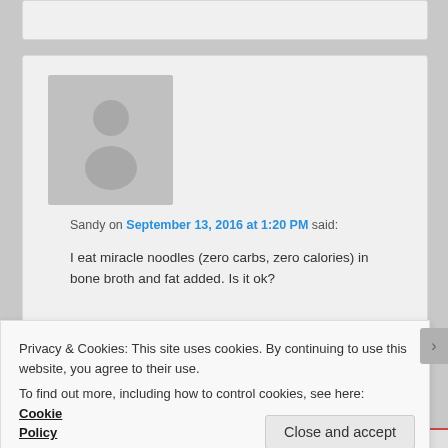Sandy on September 13, 2016 at 1:20 PM said:
I eat miracle noodles (zero carbs, zero calories) in bone broth and fat added. Is it ok?
Like
Reply ↓
Privacy & Cookies: This site uses cookies. By continuing to use this website, you agree to their use.
To find out more, including how to control cookies, see here: Cookie Policy
Close and accept